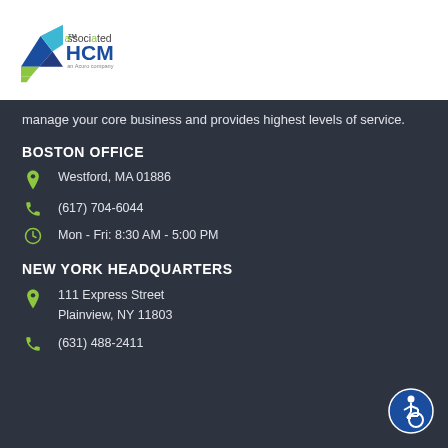[Figure (logo): Associated HCM logo - an Acuro company, with geometric mountain/check mark icon in blue and green]
manage your core business and provides highest levels of service.
BOSTON OFFICE
Westford, MA 01886
(617) 704-6044
Mon - Fri: 8:30 AM - 5:00 PM
NEW YORK HEADQUARTERS
111 Express Street
Plainview, NY 11803
(631) 488-2411